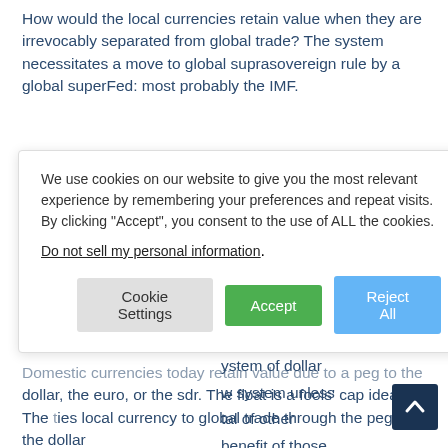How would the local currencies retain value when they are irrevocably separated from global trade? The system necessitates a move to global suprasovereign rule by a global superFed: most probably the IMF.
[Figure (screenshot): Cookie consent dialog overlay with text: 'We use cookies on our website to give you the most relevant experience by remembering your preferences and repeat visits. By clicking "Accept", you consent to the use of ALL the cookies.' with a 'Do not sell my personal information' link and three buttons: Cookie Settings, Accept, Reject All. Behind the overlay, partially obscured body text is visible on the right side.]
Domestic currencies today retain value due to a peg to the dollar, the euro, or the sdr. The float is a fools' cap idea. The ties local currency to global trade through the pegs or the dollar value trade index.